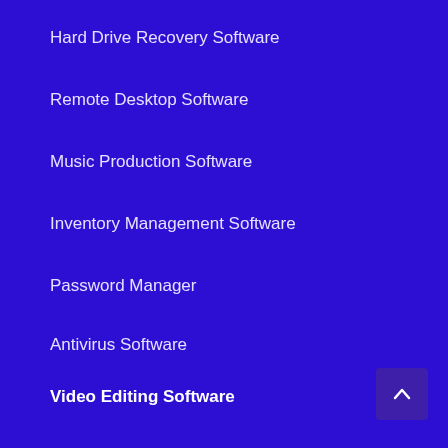Hard Drive Recovery Software
Remote Desktop Software
Music Production Software
Inventory Management Software
Password Manager
Antivirus Software
Video Editing Software
Webinar Software
Backup Software
CRM Software